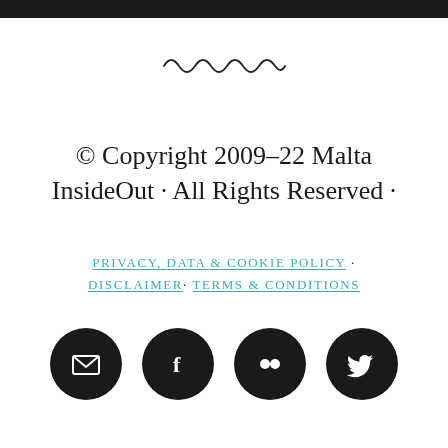[Figure (illustration): Decorative wavy/squiggle divider line in dark ink, centered on the page]
© Copyright 2009-22 Malta InsideOut · All Rights Reserved ·
PRIVACY, DATA & COOKIE POLICY · DISCLAIMER· TERMS & CONDITIONS
[Figure (illustration): Four circular black social media icons in a row: email/envelope, Facebook (f), Flickr (two circles), Twitter (bird)]